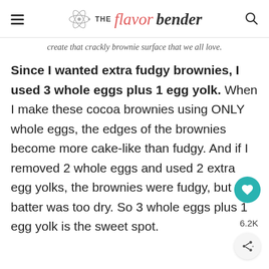THE flavor bender
create that crackly brownie surface that we all love.
Since I wanted extra fudgy brownies, I used 3 whole eggs plus 1 egg yolk. When I make these cocoa brownies using ONLY whole eggs, the edges of the brownies become more cake-like than fudgy. And if I removed 2 whole eggs and used 2 extra egg yolks, the brownies were fudgy, but the batter was too dry. So 3 whole eggs plus 1 egg yolk is the sweet spot.